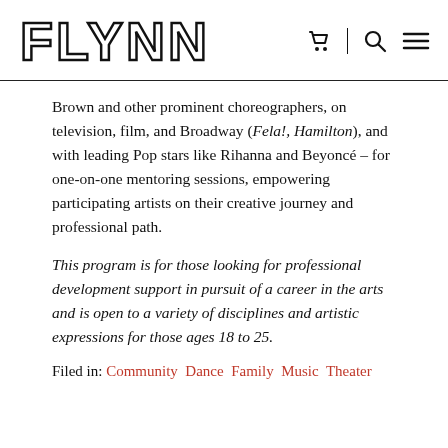FLYNN
Brown and other prominent choreographers, on television, film, and Broadway (Fela!, Hamilton), and with leading Pop stars like Rihanna and Beyoncé – for one-on-one mentoring sessions, empowering participating artists on their creative journey and professional path.
This program is for those looking for professional development support in pursuit of a career in the arts and is open to a variety of disciplines and artistic expressions for those ages 18 to 25.
Filed in: Community Dance Family Music Theater